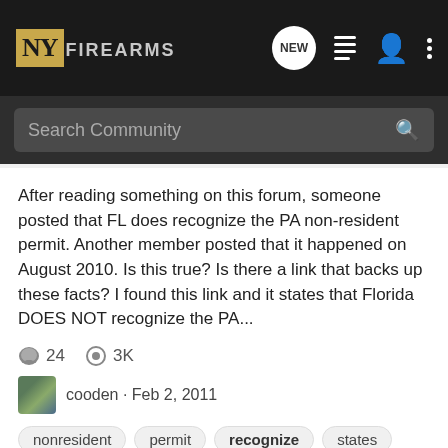NY FIREARMS
After reading something on this forum, someone posted that FL does recognize the PA non-resident permit. Another member posted that it happened on August 2010. Is this true? Is there a link that backs up these facts? I found this link and it states that Florida DOES NOT recognize the PA...
24  3K  cooden · Feb 2, 2011
nonresident  permit  recognize  states
NRA-ILA: Virginia Railway Express to recognize Right-to-Carry on trains
News Feeds
Virginia Railway Express to recognize Right-to-Carry on